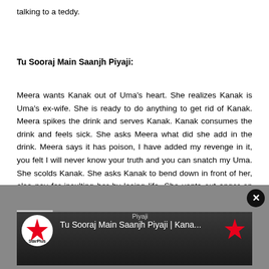talking to a teddy.
Tu Sooraj Main Saanjh Piyaji:
Meera wants Kanak out of Uma's heart. She realizes Kanak is Uma's ex-wife. She is ready to do anything to get rid of Kanak. Meera spikes the drink and serves Kanak. Kanak consumes the drink and feels sick. She asks Meera what did she add in the drink. Meera says it has poison, I have added my revenge in it, you felt I will never know your truth and you can snatch my Uma. She scolds Kanak. She asks Kanak to bend down in front of her, else pay for insulting her by losing life. She vents out anger on Kanak.
[Figure (screenshot): Video player embed showing StarPlus logo on left, text 'Tu Sooraj Main Saanjh Piyaji | Kana...' in center, another star logo on right, with a close button (X) in top right corner. Dark background with video content below.]